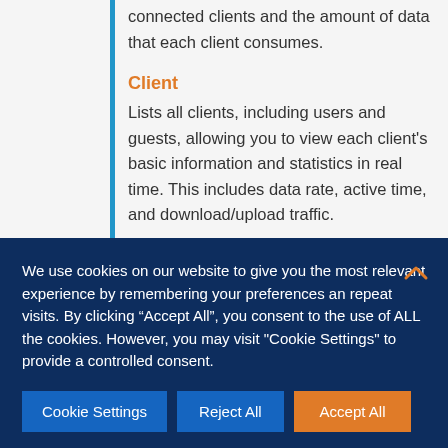connected clients and the amount of data that each client consumes.
Client
Lists all clients, including users and guests, allowing you to view each client's basic information and statistics in real time. This includes data rate, active time, and download/upload traffic.
Omada APP
Network management has never been
We use cookies on our website to give you the most relevant experience by remembering your preferences an repeat visits. By clicking “Accept All”, you consent to the use of ALL the cookies. However, you may visit "Cookie Settings" to provide a controlled consent.